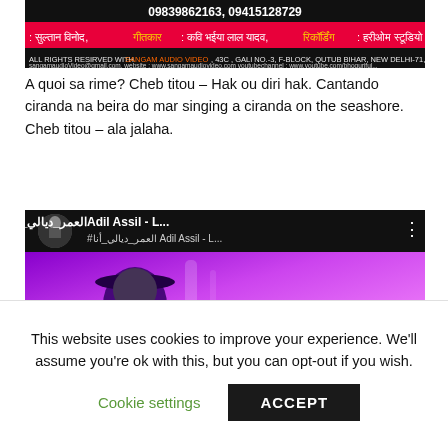[Figure (screenshot): Top portion of a music video thumbnail showing Hindi/Devanagari text and credits with colorful design, phone numbers 09839862163, 09415128729, text about Sangam Audio Video, and credits for Sultan Vinod, Geetkar, Kavi Bhaiya Lal Yadav, Recording at Hariom Studios]
A quoi sa rime? Cheb titou – Hak ou diri hak. Cantando ciranda na beira do mar singing a ciranda on the seashore. Cheb titou – ala jalaha.
[Figure (screenshot): YouTube video thumbnail for Adil Assil song with Arabic text العمر_ديالي_أنا# and title 'Adil Assil - L...' showing a man wearing a hat against a purple background with decorative text 'Aaja']
This website uses cookies to improve your experience. We'll assume you're ok with this, but you can opt-out if you wish.
Cookie settings   ACCEPT